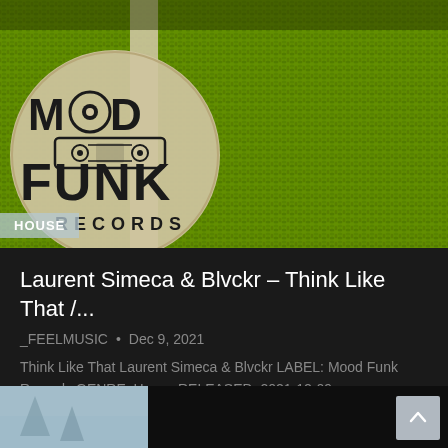[Figure (photo): Green knitted/grass texture background with Mood Funk Records circular logo (vinyl/cassette tape imagery) overlaid on top-left. A vertical beige/cream stripe divides the logo area from the textured green background.]
HOUSE
Laurent Simeca & Blvckr – Think Like That /...
_FEELMUSIC • Dec 9, 2021
Think Like That Laurent Simeca & Blvckr LABEL: Mood Funk Records GENRE: House RELEASED: 2021-12-09...
[Figure (photo): Partial view of another article's thumbnail image at the bottom of the page, showing a wintry/pale blue-toned scene on the left and a dark background on the right.]